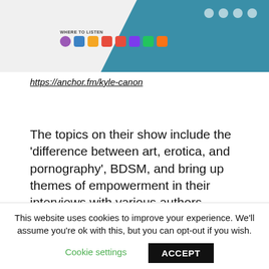[Figure (screenshot): Website banner screenshot showing podcast listening platforms with 'WHERE TO LISTEN' label, social media icons in top right on teal background]
https://anchor.fm/kyle-canon
The topics on their show include the 'difference between art, erotica, and pornography', BDSM, and bring up themes of empowerment in their interviews with various authors.
I was recently interviewed by Kyle and Lilly, and we had a wonderful chat about strong voices in romance novels. We also talked about my female character's journey in
This website uses cookies to improve your experience. We'll assume you're ok with this, but you can opt-out if you wish.